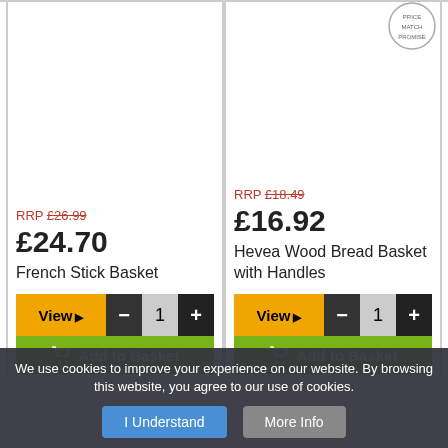RRP £26.99
£24.70
French Stick Basket
RRP £18.49
£16.92
Hevea Wood Bread Basket with Handles
We use cookies to improve your experience on our website. By browsing this website, you agree to our use of cookies.
I Understand
More Info